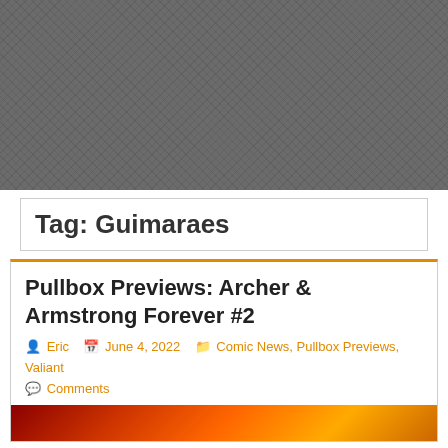[Figure (other): Dark gray textured banner header with diagonal crosshatch pattern]
Tag: Guimaraes
Pullbox Previews: Archer & Armstrong Forever #2
Eric  June 4, 2022  Comic News, Pullbox Previews, Valiant  Comments
[Figure (photo): Partial comic book cover image at the bottom of the page]